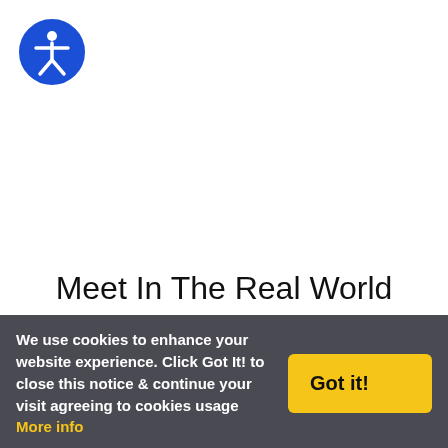[Figure (logo): Blue circular accessibility icon with a white person figure (universal accessibility symbol)]
Meet In The Real World
Catholic Meetups
Catholic Singles
Catholic Professionals
We use cookies to enhance your website experience. Click Got It! to close this notice & continue your visit agreeing to cookies usage More info
Got it!